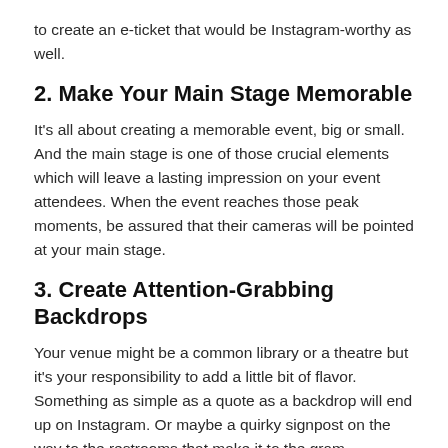to create an e-ticket that would be Instagram-worthy as well.
2. Make Your Main Stage Memorable
It's all about creating a memorable event, big or small. And the main stage is one of those crucial elements which will leave a lasting impression on your event attendees. When the event reaches those peak moments, be assured that their cameras will be pointed at your main stage.
3. Create Attention-Grabbing Backdrops
Your venue might be a common library or a theatre but it's your responsibility to add a little bit of flavor. Something as simple as a quote as a backdrop will end up on Instagram. Or maybe a quirky signpost on the way to the restrooms that make it to the gram.